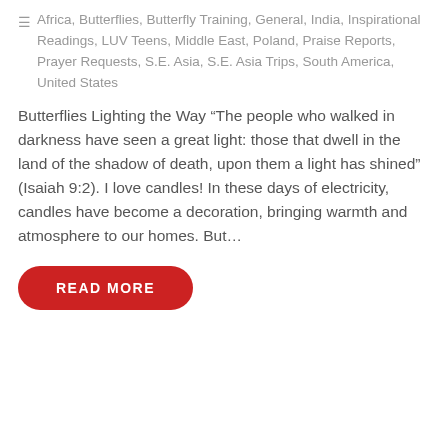Africa, Butterflies, Butterfly Training, General, India, Inspirational Readings, LUV Teens, Middle East, Poland, Praise Reports, Prayer Requests, S.E. Asia, S.E. Asia Trips, South America, United States
Butterflies Lighting the Way “The people who walked in darkness have seen a great light: those that dwell in the land of the shadow of death, upon them a light has shined” (Isaiah 9:2). I love candles! In these days of electricity, candles have become a decoration, bringing warmth and atmosphere to our homes. But...
READ MORE